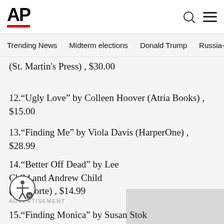AP
Trending News   Midterm elections   Donald Trump   Russia-Ukr
(St. Martin’s Press) , $30.00
12.“Ugly Love” by Colleen Hoover (Atria Books) , $15.00
13.“Finding Me” by Viola Davis (HarperOne) , $28.99
14.“Better Off Dead” by Lee Child and Andrew Child (Delacorte) , $14.99
ADVERTISEMENT
15.“Finding Monica” by Susan Stok